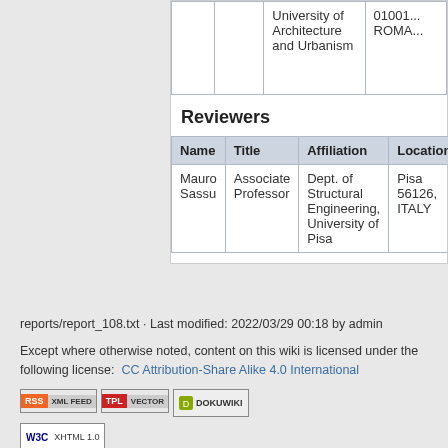| Name | Title | Affiliation | Location |
| --- | --- | --- | --- |
|  |  | University of Architecture and Urbanism | ROMA... |
| Mauro Sassu | Associate Professor | Dept. of Structural Engineering, University of Pisa | Pisa 56126, ITALY |
Reviewers
| Name | Title | Affiliation | Location |
| --- | --- | --- | --- |
| Mauro Sassu | Associate Professor | Dept. of Structural Engineering, University of Pisa | Pisa 56126, ITALY |
reports/report_108.txt · Last modified: 2022/03/29 00:18 by admin
Except where otherwise noted, content on this wiki is licensed under the following license: CC Attribution-Share Alike 4.0 International
[Figure (logo): RSS XML Feed badge, TPL Vector badge, DokuWiki badge, W3C XHTML 1.0 badge]